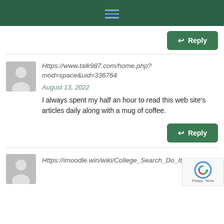Navigation menu (hamburger icon)
↩ Reply
Https://www.talk987.com/home.php?mod=space&uid=336764
August 13, 2022
I always spent my half an hour to read this web site's articles daily along with a mug of coffee.
↩ Reply
Https://imoodle.win/wiki/College_Search_Do_It_Instantly